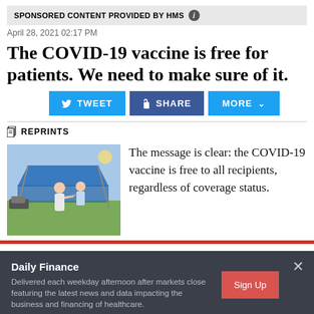SPONSORED CONTENT PROVIDED BY HMS ℹ
April 28, 2021 02:17 PM
The COVID-19 vaccine is free for patients. We need to make sure of it.
TWEET  SHARE  MORE
REPRINTS
[Figure (photo): A person receiving a vaccine injection outdoors near a blue tent, with others nearby on a sunny day.]
The message is clear: the COVID-19 vaccine is free to all recipients, regardless of coverage status.
Daily Finance
Delivered each weekday afternoon after markets close featuring the latest news and data impacting the business and financing of healthcare.